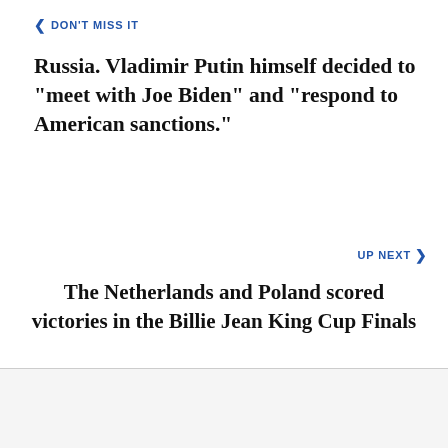< DON'T MISS IT
Russia. Vladimir Putin himself decided to “meet with Joe Biden” and “respond to American sanctions.”
UP NEXT >
The Netherlands and Poland scored victories in the Billie Jean King Cup Finals
MARIA PALMER
"Devoted organizer. Incurable thinker. Explorer. Tv junkie. Travel buff. Troublemaker."